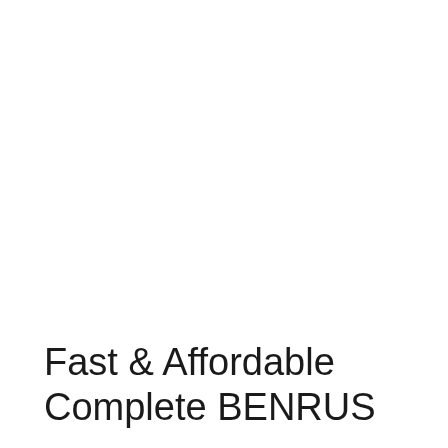Fast & Affordable Complete BENRUS